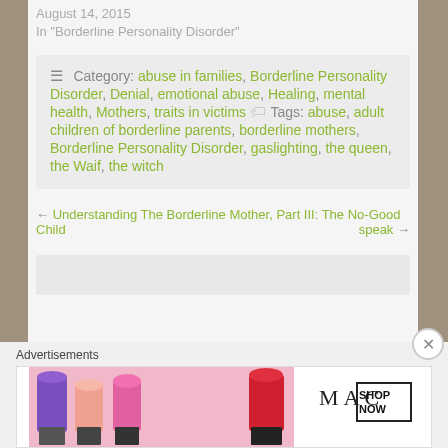August 14, 2015
In "Borderline Personality Disorder"
Category: abuse in families, Borderline Personality Disorder, Denial, emotional abuse, Healing, mental health, Mothers, traits in victims  Tags: abuse, adult children of borderline parents, borderline mothers, Borderline Personality Disorder, gaslighting, the queen, the Waif, the witch
← Understanding The Borderline Mother, Part III: The No-Good Child
speak →
Advertisements